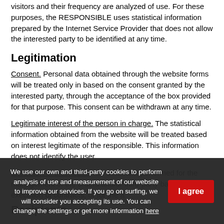visitors and their frequency are analyzed of use. For these purposes, the RESPONSIBLE uses statistical information prepared by the Internet Service Provider that does not allow the interested party to be identified at any time.
Legitimation
Consent. Personal data obtained through the website forms will be treated only in based on the consent granted by the interested party, through the acceptance of the box provided for that purpose. This consent can be withdrawn at any time.
Legitimate interest of the person in charge. The statistical information obtained from the website will be treated based on interest legitimate of the responsible. This information does not identify the user.
Execution of a contract. The treatment performed for the management of the orders and/or third-party based on the execution of contracts, or for the a...
We use our own and third-party cookies to perform analysis of use and measurement of our website to improve our services. If you go on surfing, we will consider you accepting its use. You can change the settings or get more information here
Recipients